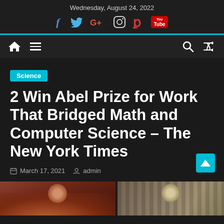Wednesday, August 24, 2022
2 Win Abel Prize for Work That Bridged Math and Computer Science – The New York Times
March 17, 2021  admin
[Figure (photo): Two portrait photos of the Abel Prize winners at the bottom of the article page]
Science